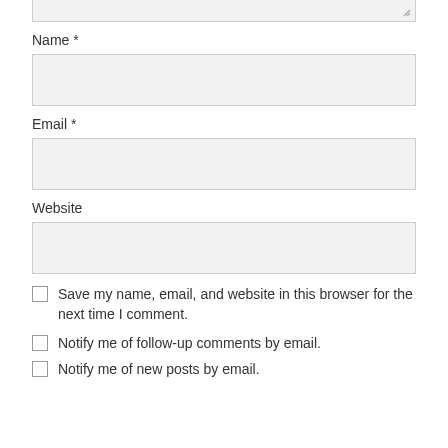[textarea stub top]
Name *
[Name input field]
Email *
[Email input field]
Website
[Website input field]
Save my name, email, and website in this browser for the next time I comment.
Notify me of follow-up comments by email.
Notify me of new posts by email.